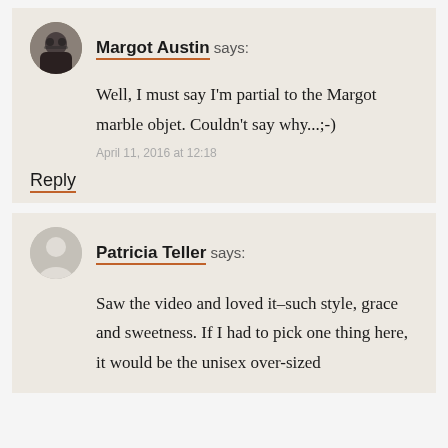Margot Austin says:
Well, I must say I'm partial to the Margot marble objet. Couldn't say why...;-)
April 11, 2016 at 12:18
Reply
Patricia Teller says:
Saw the video and loved it–such style, grace and sweetness. If I had to pick one thing here, it would be the unisex over-sized